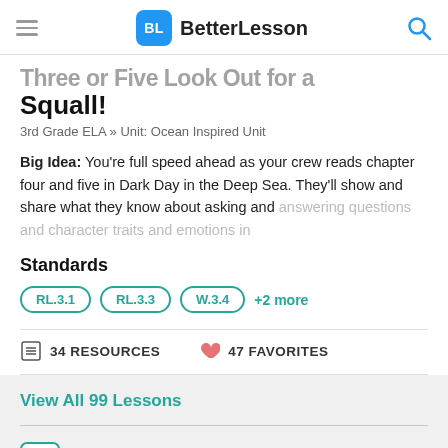BL BetterLesson
Three or Five Look Out for a Squall!
3rd Grade ELA » Unit: Ocean Inspired Unit
Big Idea: You're full speed ahead as your crew reads chapter four and five in Dark Day in the Deep Sea. They'll show and share what they know about asking and answering questions and character traits and emotions in
Standards
RL.3.1  RL.3.3  W.3.4  +2 more
34 RESOURCES   47 FAVORITES
View All 99 Lessons